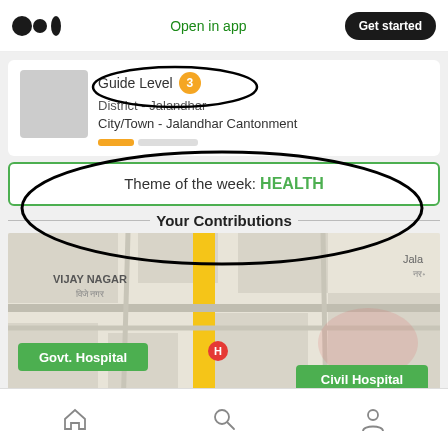[Figure (screenshot): Screenshot of a mobile app (Medium-like) showing a user profile with Guide Level 3, District - Jalandhar, City/Town - Jalandhar Cantonment, a Theme of the week: HEALTH banner, Your Contributions section header, and a map showing Vijay Nagar area with Govt. Hospital and Civil Hospital markers. Hand-drawn ellipse annotations circle the Guide Level badge and the Theme/Contributions area.]